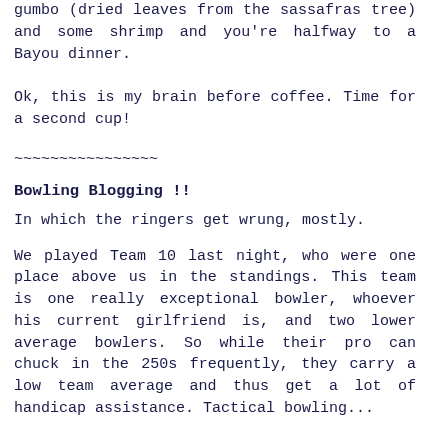gumbo (dried leaves from the sassafras tree) and some shrimp and you're halfway to a Bayou dinner.
Ok, this is my brain before coffee. Time for a second cup!
~~~~~~~~~~~~~~~~
Bowling Blogging !!
In which the ringers get wrung, mostly.
We played Team 10 last night, who were one place above us in the standings. This team is one really exceptional bowler, whoever his current girlfriend is, and two lower average bowlers. So while their pro can chuck in the 250s frequently, they carry a low team average and thus get a lot of handicap assistance. Tactical bowling...